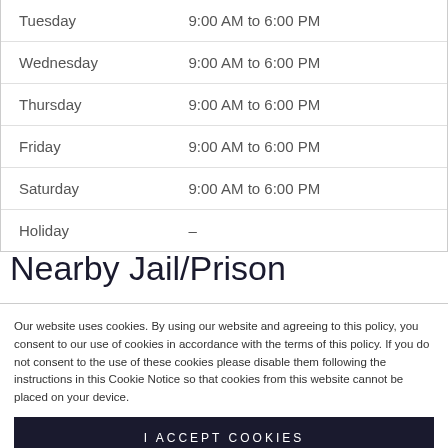| Day | Hours |
| --- | --- |
| Tuesday | 9:00 AM to 6:00 PM |
| Wednesday | 9:00 AM to 6:00 PM |
| Thursday | 9:00 AM to 6:00 PM |
| Friday | 9:00 AM to 6:00 PM |
| Saturday | 9:00 AM to 6:00 PM |
| Holiday | – |
Nearby Jail/Prison
Our website uses cookies. By using our website and agreeing to this policy, you consent to our use of cookies in accordance with the terms of this policy. If you do not consent to the use of these cookies please disable them following the instructions in this Cookie Notice so that cookies from this website cannot be placed on your device.
I ACCEPT COOKIES